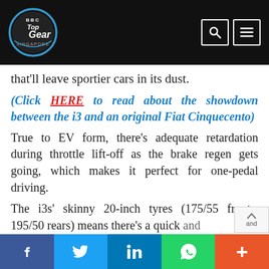BBC Top Gear Singapore
that'll leave sportier cars in its dust.
(Click HERE to read about the showdown between the i3 and an original Fiat Cinquecento)
True to EV form, there's adequate retardation during throttle lift-off as the brake regen gets going, which makes it perfect for one-pedal driving.
The i3s' skinny 20-inch tyres (175/55 fronts, 195/50 rears) means there's a quick and
f  Twitter  in  WhatsApp  +